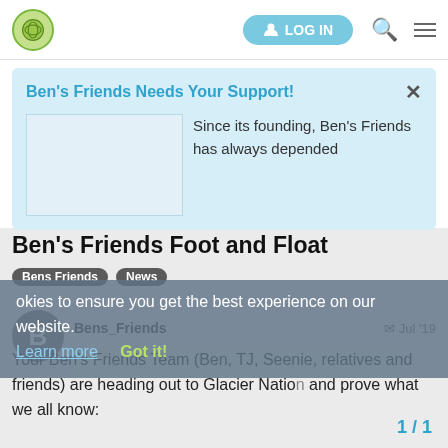LOG IN [navigation header with logo, search, and menu icons]
Ben's Friends Needs Your Support!
Since its founding, Ben's Friends has always depended
Ben's Friends Foot and Float
Bens Friends  News
This site uses cookies to ensure you get the best experience on our website.
Learn more
Got it!
Bens_Friends  Jul '19
Your Ben's Friends Team (Ben, TJ, Seenie, relatives and friends) are heading out to Glacier Nation and prove what we all know:
1 / 1